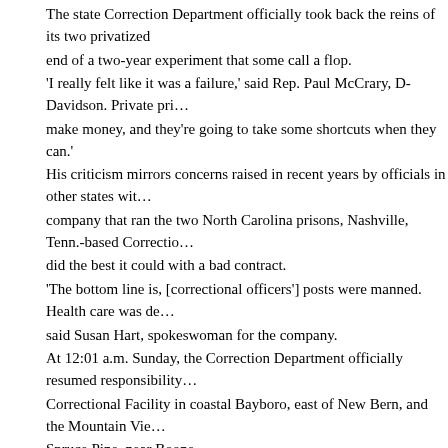The state Correction Department officially took back the reins of its two privatized prisons Sunday, marking the end of a two-year experiment that some call a flop.
'I really felt like it was a failure,' said Rep. Paul McCrary, D-Davidson. 'Private prisons are in business to make money, and they're going to take some shortcuts when they can.'
His criticism mirrors concerns raised in recent years by officials in other states with private prisons. The company that ran the two North Carolina prisons, Nashville, Tenn.-based Corrections Corporation of America, said it did the best it could with a bad contract.
'The bottom line is, [correctional officers'] posts were manned. Health care was delivered. Programs were run,' said Susan Hart, spokeswoman for the company.
At 12:01 a.m. Sunday, the Correction Department officially resumed responsibility for the Pamlico Correctional Facility in coastal Bayboro, east of New Bern, and the Mountain View Correctional Facility near Spruce Pine, near Boone.
For the 528 medium-custody inmates at the two prisons, it's just another day behind bars. But the guards, who have been wearing state uniforms for days, will become state employees.
CCA, the nation's largest private, for-profit prison company, was slated to run the prisons longer, but both prisons' troubles left both sides wanting to get out of the contract early.
The department said it has no plans to let other companies operate North Carolina prisons, but it still plans to let companies finance and build prisons.
The state will lease the buildings from private owners and run the prisons -- as it will do with the Pamlico and Mountain View facilities.
'At this point in time, we think we are better equipped and have better resources to run prisons,' said Tracy Little, spokesman for the agency.
'All North Carolina's facilities have improvement. The state has seen it fit to...